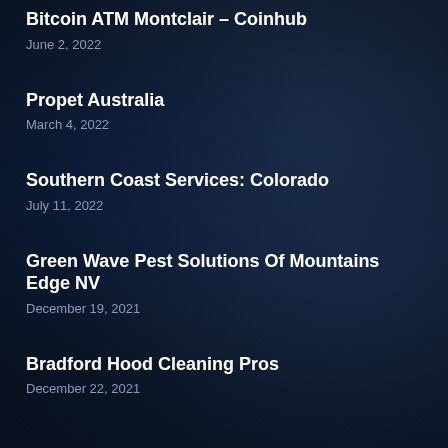Bitcoin ATM Montclair – Coinhub
June 2, 2022
Propet Australia
March 4, 2022
Southern Coast Services: Colorado
July 11, 2022
Green Wave Pest Solutions Of Mountains Edge NV
December 19, 2021
Bradford Hood Cleaning Pros
December 22, 2021